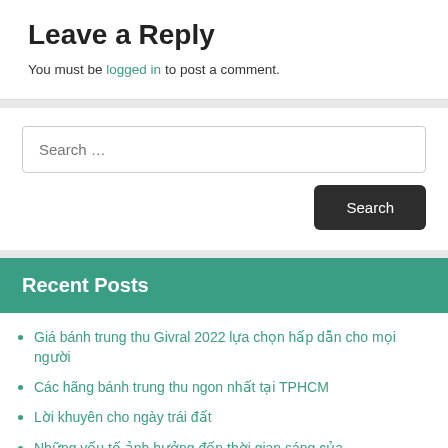Leave a Reply
You must be logged in to post a comment.
Search …
Recent Posts
Giá bánh trung thu Givral 2022 lựa chọn hấp dẫn cho mọi người
Các hãng bánh trung thu ngon nhất tại TPHCM
Lời khuyên cho ngày trái đất
Những yếu tố ảnh hưởng đến thời gian sáng của